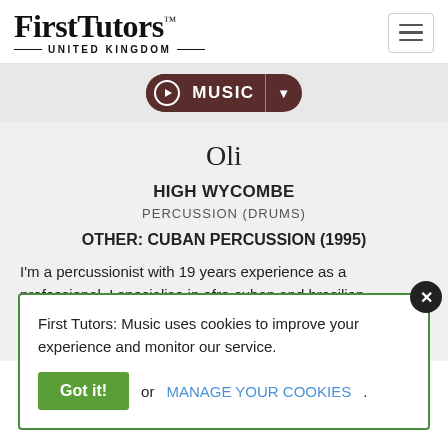[Figure (logo): FirstTutors United Kingdom logo with hamburger menu icon]
[Figure (infographic): Music navigation pill button with music note icon, MUSIC label, and dropdown arrow]
Oli
HIGH WYCOMBE
PERCUSSION (DRUMS)
OTHER: CUBAN PERCUSSION (1995)
I'm a percussionist with 19 years experience as a professional. I specialise in afro-cuban and brasilian instruments. Working as a freelance musician, I have toured, recorded and performed with
First Tutors: Music uses cookies to improve your experience and monitor our service. Got it! or MANAGE YOUR COOKIES.